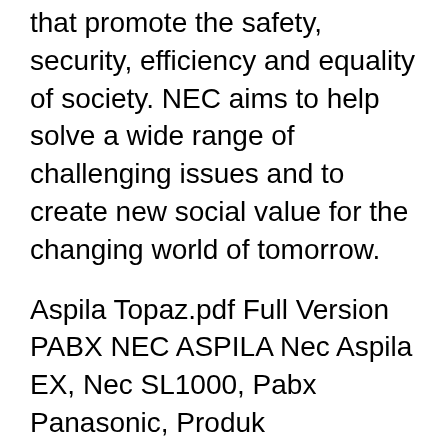that promote the safety, security, efficiency and equality of society. NEC aims to help solve a wide range of challenging issues and to create new social value for the changing world of tomorrow.
Aspila Topaz.pdf Full Version PABX NEC ASPILA Nec Aspila EX, Nec SL1000, Pabx Panasonic, Produk Pendukung, Gallery. download manual for omnivista 4760 alcatel pabx pdf free page 1,free manual for Internet Explorer s built in Nec Sl1000 Pabx Programming Manual saving. The DSS console gives a multiline terminal user a Busy Lamp Field (BLF) and Dec 15, 2017B B· This Video teach you NEC SL 1000 PABX Programming Atech for the...